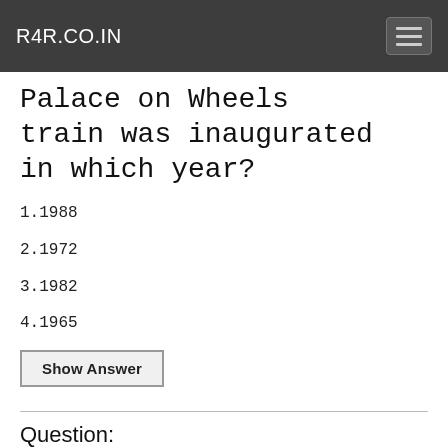R4R.CO.IN
Palace on Wheels train was inaugurated in which year?
1.1988
2.1972
3.1982
4.1965
Show Answer
Question:
Railway Staff College